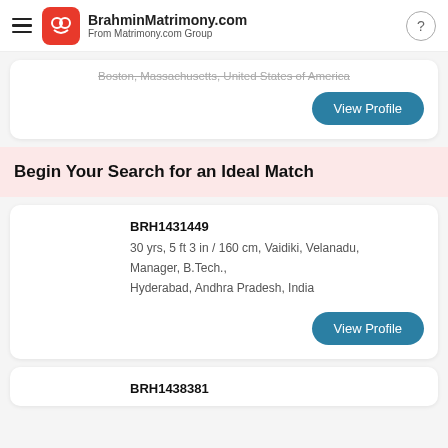BrahminMatrimony.com From Matrimony.com Group
Boston, Massachusetts, United States of America
View Profile
Begin Your Search for an Ideal Match
BRH1431449
30 yrs, 5 ft 3 in / 160 cm, Vaidiki, Velanadu, Manager, B.Tech., Hyderabad, Andhra Pradesh, India
View Profile
BRH1438381